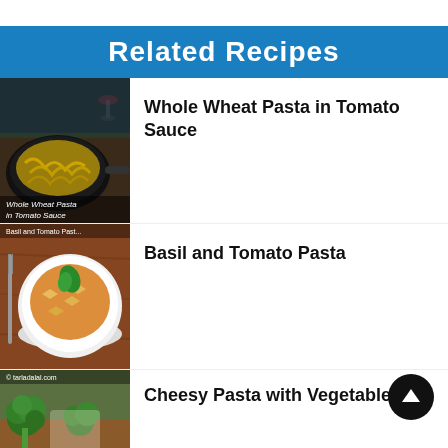Related Recipes
[Figure (photo): Photo of whole wheat pasta in a black skillet pan with text overlay 'Whole Wheat Pasta in Tomato Sauce']
Whole Wheat Pasta in Tomato Sauce
[Figure (photo): Photo of basil and tomato pasta in a white bowl on a wooden surface with text overlay 'Basil and Tomato Pasta']
Basil and Tomato Pasta
[Figure (photo): Photo of cheesy pasta with vegetables including broccoli]
Cheesy Pasta with Vegetables